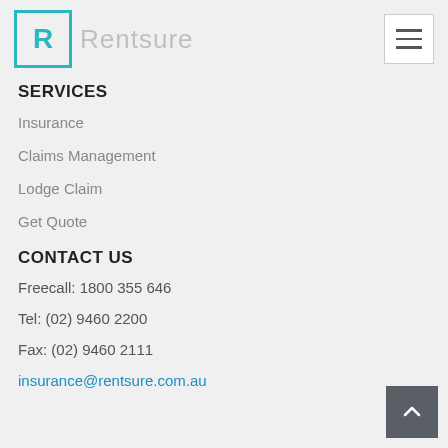Rentsure
SERVICES
Insurance
Claims Management
Lodge Claim
Get Quote
CONTACT US
Freecall: 1800 355 646
Tel: (02) 9460 2200
Fax: (02) 9460 2111
insurance@rentsure.com.au